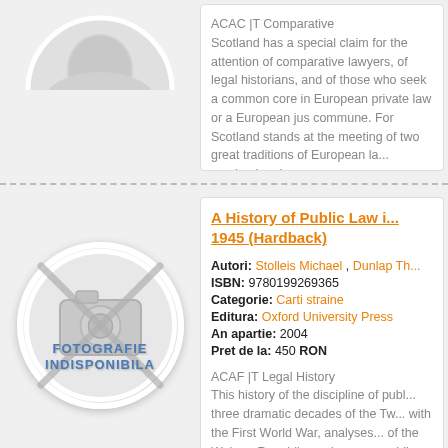[Figure (illustration): Circular placeholder image for book cover, top half of circle visible]
ACAC |T Comparative
Scotland has a special claim for the attention of comparative lawyers, of legal historians, and of those who seek a common core in European private law or a European jus commune. For Scotland stands at the meeting of two great traditions of European law. It has both received and...
[Figure (illustration): Circular placeholder with text FOTOGRAFIE INDISPONIBILA and camera cross-out icon]
A History of Public Law in Germany 1914-1945 (Hardback)
Autori: Stolleis Michael , Dunlap Th...
ISBN: 9780199269365
Categorie: Carti straine
Editura: Oxford University Press
An apartie: 2004
Pret de la: 450 RON
ACAF |T Legal History
This history of the discipline of public law covers three dramatic decades of the Tw... with the First World War, analyses the dissolution of the Weimar Republic, and recounts the developments in public law that began in 1933 and...